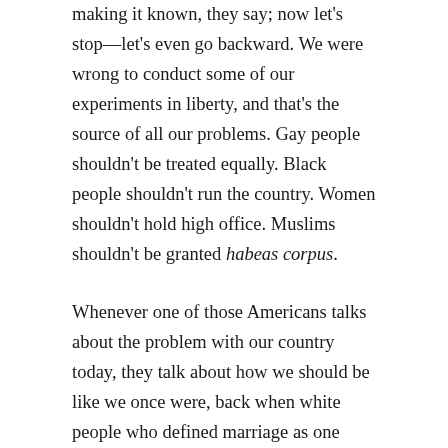making it known, they say; now let's stop—let's even go backward. We were wrong to conduct some of our experiments in liberty, and that's the source of all our problems. Gay people shouldn't be treated equally. Black people shouldn't run the country. Women shouldn't hold high office. Muslims shouldn't be granted habeas corpus.
Whenever one of those Americans talks about the problem with our country today, they talk about how we should be like we once were, back when white people who defined marriage as one man-one woman and were Protestant veterans built this nation. They feel they are losing their birthright, their legacy.
But those Americans are wrong. What their ancestors